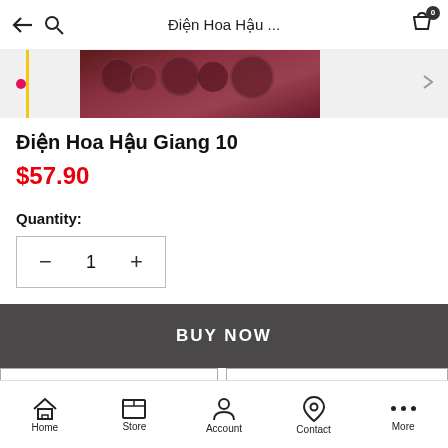Điện Hoa Hậu ...
[Figure (photo): Partial product image showing flower/food arrangement in dark red/maroon tones]
Điện Hoa Hậu Giang 10
$57.90
Quantity:
- 1 +
BUY NOW
ADD TO BAG
ADD TO WISHLIST
Home  Store  Account  Contact  More